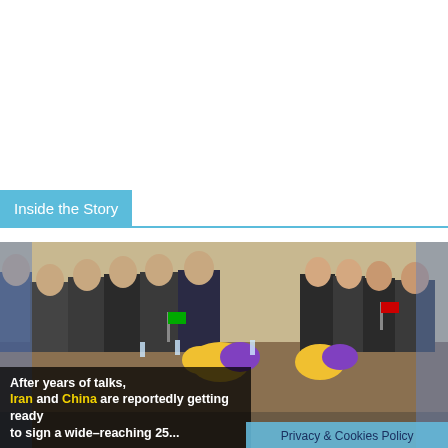Inside the Story
[Figure (photo): A formal diplomatic meeting with delegations seated on both sides of a long conference table, with flowers and flags visible. Appears to be an Iran-China high-level meeting.]
After years of talks, Iran and China are reportedly getting ready to sign a wide-reaching 25...
Privacy & Cookies Policy